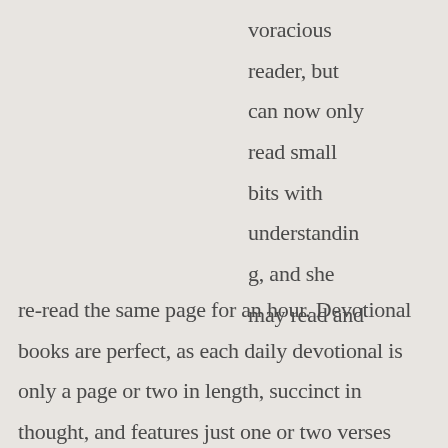voracious reader, but can now only read small bits with understanding, and she may read and re-read the same page for an hour. Devotional books are perfect, as each daily devotional is only a page or two in length, succinct in thought, and features just one or two verses